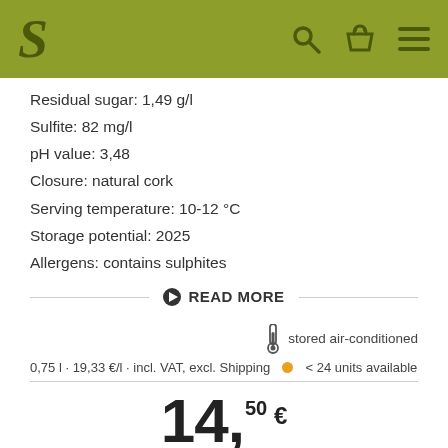S [logo] [search icon] [basket icon] [menu icon]
Residual sugar: 1,49 g/l
Sulfite: 82 mg/l
pH value: 3,48
Closure: natural cork
Serving temperature: 10-12 °C
Storage potential: 2025
Allergens: contains sulphites
READ MORE
stored air-conditioned
0,75 l · 19,33 €/l · incl. VAT, excl. Shipping  • < 24 units available
14,50 €